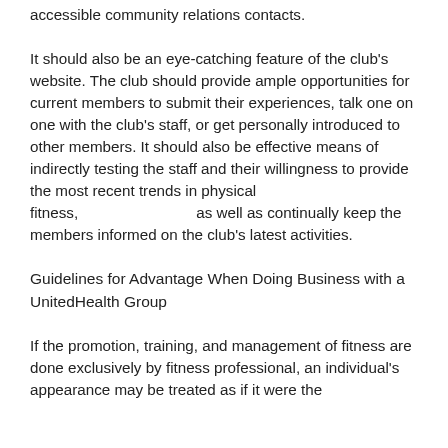accessible community relations contacts.
It should also be an eye-catching feature of the club's website. The club should provide ample opportunities for current members to submit their experiences, talk one on one with the club's staff, or get personally introduced to other members. It should also be effective means of indirectly testing the staff and their willingness to provide the most recent trends in physical fitness,                              as well as continually keep the members informed on the club's latest activities.
Guidelines for Advantage When Doing Business with a UnitedHealth Group
If the promotion, training, and management of fitness are done exclusively by fitness professional, an individual's appearance may be treated as if it were the